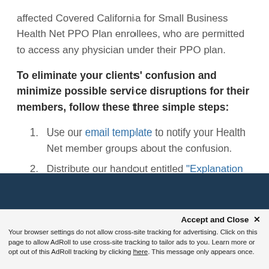affected Covered California for Small Business Health Net PPO Plan enrollees, who are permitted to access any physician under their PPO plan.
To eliminate your clients' confusion and minimize possible service disruptions for their members, follow these three simple steps:
1. Use our email template to notify your Health Net member groups about the confusion.
2. Distribute our handout entitled “Explanation of Health Net ID Cards from Covered California” to
[Figure (other): Dark navy blue decorative bar across the page]
Accept and Close ×
Your browser settings do not allow cross-site tracking for advertising. Click on this page to allow AdRoll to use cross-site tracking to tailor ads to you. Learn more or opt out of this AdRoll tracking by clicking here. This message only appears once.